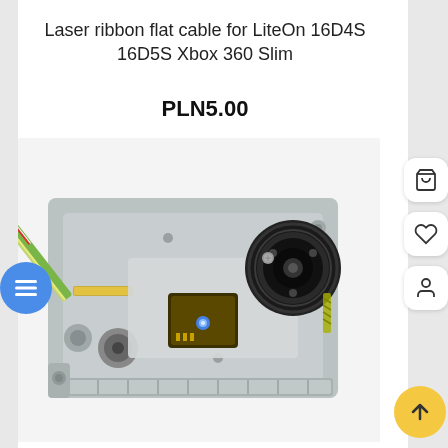Laser ribbon flat cable for LiteOn 16D4S 16D5S Xbox 360 Slim
PLN5.00
[Figure (photo): Photo of a laser ribbon flat cable assembly for LiteOn 16D4S 16D5S Xbox 360 Slim optical drive, showing the metal chassis with laser pickup unit, spindle motor, and a flexible flat cable (green/yellow/red) attached on the left side.]